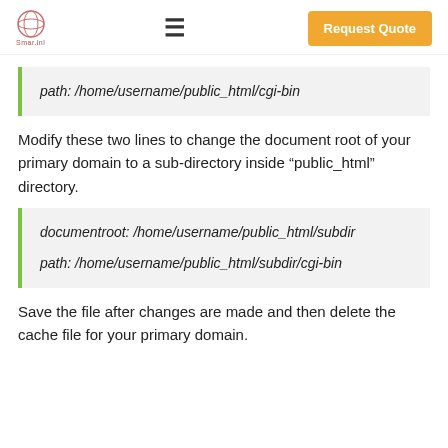Smar.lnl | Request Quote
path: /home/username/public_html/cgi-bin
Modify these two lines to change the document root of your primary domain to a sub-directory inside “public_html” directory.
documentroot: /home/username/public_html/subdir

path: /home/username/public_html/subdir/cgi-bin
Save the file after changes are made and then delete the cache file for your primary domain.